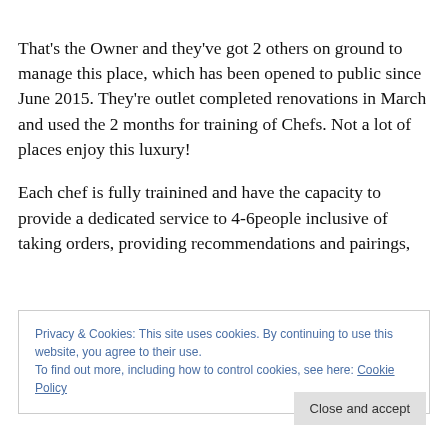That's the Owner and they've got 2 others on ground to manage this place, which has been opened to public since June 2015. They're outlet completed renovations in March and used the 2 months for training of Chefs. Not a lot of places enjoy this luxury!
Each chef is fully trainined and have the capacity to provide a dedicated service to 4-6people inclusive of taking orders, providing recommendations and pairings,
Privacy & Cookies: This site uses cookies. By continuing to use this website, you agree to their use.
To find out more, including how to control cookies, see here: Cookie Policy
Close and accept